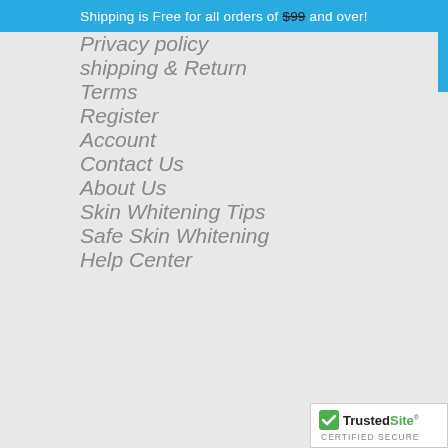Shipping is Free for all orders of $99 and over!
Privacy policy
shipping & Return
Terms
Register
Account
Contact Us
About Us
Skin Whitening Tips
Safe Skin Whitening
Help Center
[Figure (logo): TrustedSite Certified Secure badge]